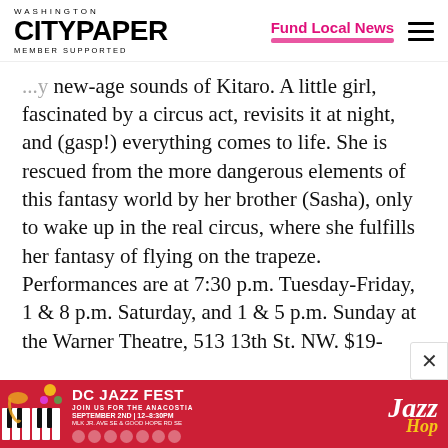WASHINGTON CITYPAPER MEMBER SUPPORTED | Fund Local News
new-age sounds of Kitaro. A little girl, fascinated by a circus act, revisits it at night, and (gasp!) everything comes to life. She is rescued from the more dangerous elements of this fantasy world by her brother (Sasha), only to wake up in the real circus, where she fulfills her fantasy of flying on the trapeze. Performances are at 7:30 p.m. Tuesday-Friday, 1 & 8 p.m. Saturday, and 1 & 5 p.m. Sunday at the Warner Theatre, 513 13th St. NW. $19-
[Figure (photo): DC Jazz Fest advertisement banner in red with piano keys illustration and 'Jazz Hop' text. Join us for the Anacostia, September 2nd, 12-8:30pm.]